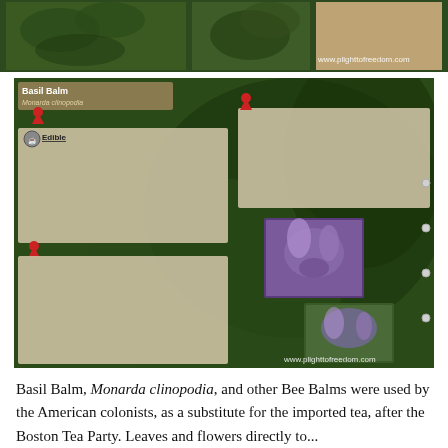[Figure (photo): Top banner showing plant photos (Bee Balm/Monarda) with website www.plighttofreedom.com watermark]
[Figure (infographic): Field guide card for Basil Balm (Monarda clinopodia) showing plant photos, edible uses, Native American tribal uses (Iroquois, Bannock, Blackfoot, Creek), medicinal uses including headaches, fevers, cold remedy, veterinary aid, compound decoction, sedative. Website www.plighttofreedom.com]
Basil Balm, Monarda clinopodia, and other Bee Balms were used by the American colonists, as a substitute for the imported tea, after the Boston Tea Party. Leaves and flowers directly to...